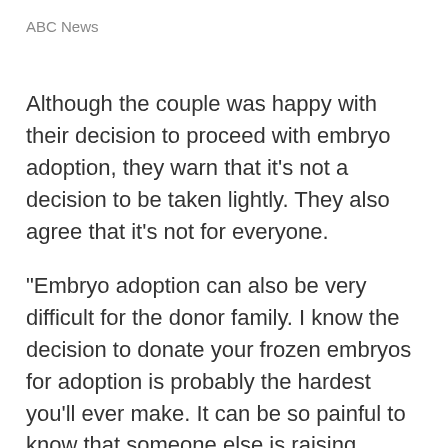ABC News
Although the couple was happy with their decision to proceed with embryo adoption, they warn that it’s not a decision to be taken lightly. They also agree that it’s not for everyone.
“Embryo adoption can also be very difficult for the donor family. I know the decision to donate your frozen embryos for adoption is probably the hardest you’ll ever make. It can be so painful to know that someone else is raising